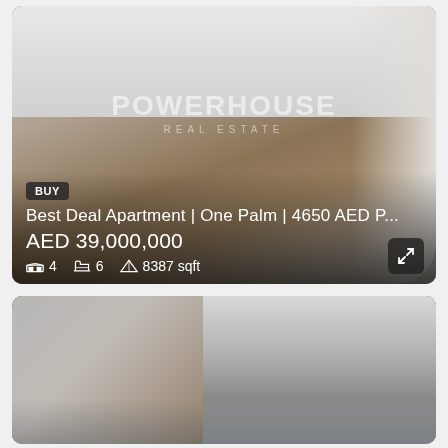[Figure (photo): Interior photo of a luxury apartment with wooden floors and floor-to-ceiling windows, POWERHOUSE REAL ESTATE watermark overlaid, with listing details: BUY badge, title 'Best Deal Apartment | One Palm | 4650 AED P...', price AED 39,000,000, 4 bedrooms, 6 bathrooms, 8387 sqft]
[Figure (photo): Interior photo of a luxury apartment showing ceiling details and floor-to-ceiling glass windows with city skyline view]